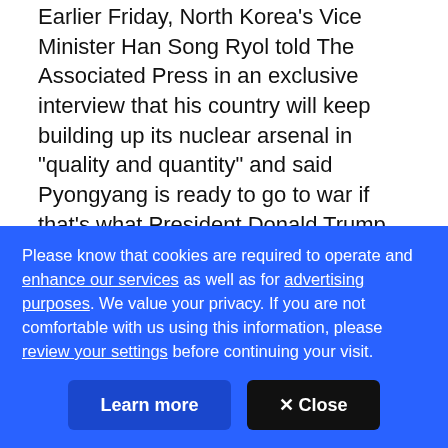Earlier Friday, North Korea's Vice Minister Han Song Ryol told The Associated Press in an exclusive interview that his country will keep building up its nuclear arsenal in "quality and quantity" and said Pyongyang is ready to go to war if that's what President Donald Trump wants.
Chinese experts said they see little immediate possibility of hostilities breaking out, but warned that Beijing will respond harshly to any further North Korean nuclear tests.
Please know that cookies are required to operate and enhance our services as well as for advertising purposes. We value your privacy. If you are not comfortable with us using this information, please review your settings before continuing your visit.